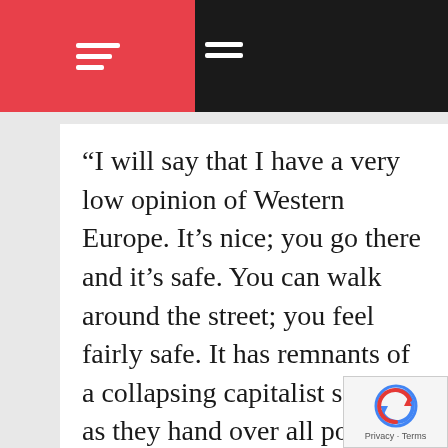Navigation bar with hamburger menus
“I will say that I have a very low opinion of Western Europe. It’s nice; you go there and it’s safe. You can walk around the street; you feel fairly safe. It has remnants of a collapsing capitalist society, as they hand over all power to the World Economic Forum (WEF). I believe that the WEF is a liberal, socialist organization. They have too much control over politics. To